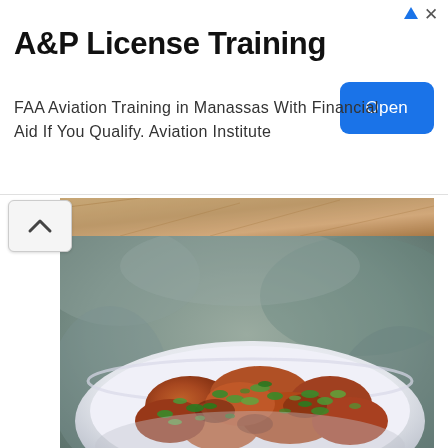[Figure (screenshot): Advertisement banner: A&P License Training - FAA Aviation Training in Manassas With Financial Aid If You Qualify. Aviation Institute. Blue 'Open' button on right.]
[Figure (photo): Partial cropped food photo at top showing baked pastry or bread item]
[Figure (photo): Photo of a white bowl containing curry meat dish garnished with fresh chopped green herbs (cilantro/parsley), set against a rocky outdoor background]
[Figure (photo): Photo of a decorative blue and white floral plate containing yellow saffron rice with mixed vegetables/herbs]